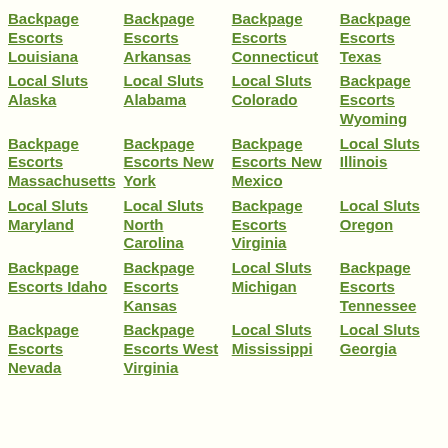Backpage Escorts Louisiana
Backpage Escorts Arkansas
Backpage Escorts Connecticut
Backpage Escorts Texas
Local Sluts Alaska
Local Sluts Alabama
Local Sluts Colorado
Backpage Escorts Wyoming
Backpage Escorts Massachusetts
Backpage Escorts New York
Backpage Escorts New Mexico
Local Sluts Illinois
Local Sluts Maryland
Local Sluts North Carolina
Backpage Escorts Virginia
Local Sluts Oregon
Backpage Escorts Idaho
Backpage Escorts Kansas
Local Sluts Michigan
Backpage Escorts Tennessee
Backpage Escorts Nevada
Backpage Escorts West Virginia
Local Sluts Mississippi
Local Sluts Georgia